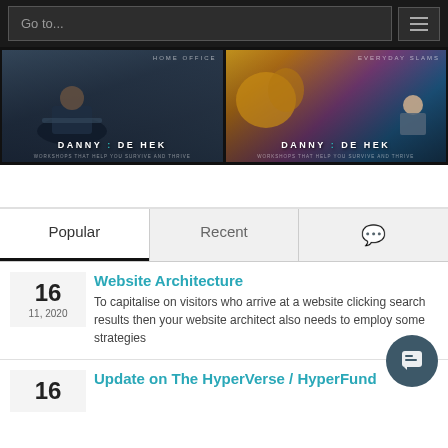Go to...
[Figure (photo): Danny de Hek - Home Office workshop thumbnail with man working on laptop in industrial cafe setting]
[Figure (photo): Danny de Hek - Everyday Slams workshop thumbnail with colorful graffiti mural background]
Popular | Recent | Comments
Website Architecture
To capitalise on visitors who arrive at a website clicking search results then your website architect also needs to employ some strategies
Update on The HyperVerse / HyperFund